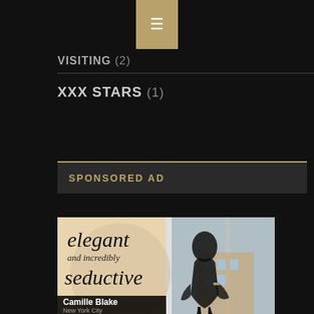≡ (menu icon)
VISITING (2)
XXX STARS (1)
SPONSORED AD
[Figure (photo): Advertisement image showing text 'elegant and incredibly seductive' with a figure of a woman posing near a window with city buildings visible. Bottom bar shows name 'Camille Blake' and 'New York City'.]